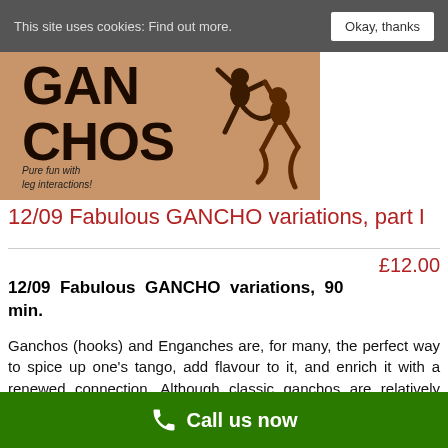This site uses cookies: Find out more. Okay, thanks
[Figure (illustration): Ganchos dance video cover image showing stylized tango dancers with text 'GAN CHOS - Pure fun with leg interactions!']
12/09 Fabulous GANCHO variations, part I
£12.00
12/09 Fabulous GANCHO variations, 90 min.
Ganchos (hooks) and Enganches are, for many, the perfect way to spice up one's tango, add flavour to it, and enrich it with a renewed connection. Although classic ganchos are relatively simple to achieve,
Call us now